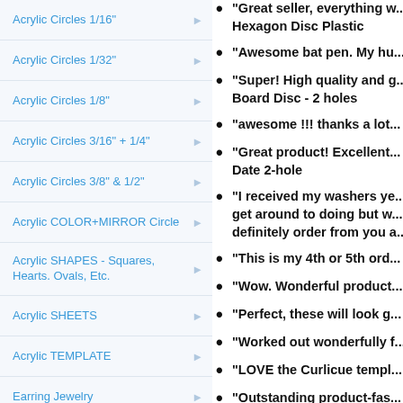Acrylic Circles 1/16"
Acrylic Circles 1/32"
Acrylic Circles 1/8"
Acrylic Circles 3/16" + 1/4"
Acrylic Circles 3/8" & 1/2"
Acrylic COLOR+MIRROR Circle
Acrylic SHAPES - Squares, Hearts. Ovals, Etc.
Acrylic SHEETS
Acrylic TEMPLATE
Earring Jewelry
GLOWFORGE 12"x20" Sheets Size
Holiday Ornaments
Metal Engraved Gifts
Music Boxes - Personalized!
"Great seller, everything w... Hexagon Disc Plastic
"Awesome bat pen. My hu...
"Super! High quality and g... Board Disc - 2 holes
"awesome !!! thanks a lot...
"Great product! Excellent... Date 2-hole
"I received my washers ye... get around to doing but w... definitely order from you a...
"This is my 4th or 5th ord...
"Wow. Wonderful product...
"Perfect, these will look g...
"Worked out wonderfully f...
"LOVE the Curlicue templ...
"Outstanding product-fas...
"This seller is absolutely t...
"Good item. Will buy from...